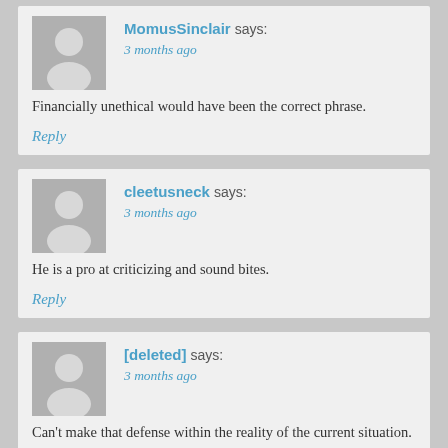MomusSinclair says:
3 months ago
Financially unethical would have been the correct phrase.
Reply
cleetusneck says:
3 months ago
He is a pro at criticizing and sound bites.
Reply
[deleted] says:
3 months ago
Can't make that defense within the reality of the current situation.